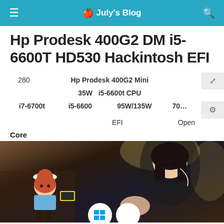July's Blog
Hp Prodesk 400G2 DM i5-6600T HD530 Hackintosh EFI
| 280 | Hp Prodesk 400G2 Mini |  |
|  | 35W | i5-6600t CPU |
| i7-6700t | i5-6600 | 95W/135W | 70... |
EFI    Open
Core
[Figure (illustration): Anime-style illustration with character on left and dark-haired character on right, with Windows and Apple icons at bottom]